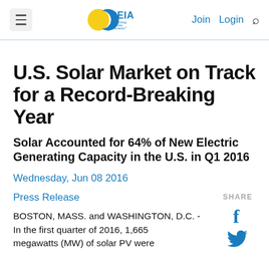SEIA Solar Energy Industries Association | Join Login
U.S. Solar Market on Track for a Record-Breaking Year
Solar Accounted for 64% of New Electric Generating Capacity in the U.S. in Q1 2016
Wednesday, Jun 08 2016
Press Release
BOSTON, MASS. and WASHINGTON, D.C. - In the first quarter of 2016, 1,665 megawatts (MW) of solar PV were